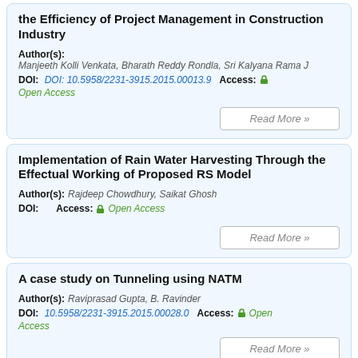the Efficiency of Project Management in Construction Industry
Author(s): Manjeeth Kolli Venkata, Bharath Reddy Rondla, Sri Kalyana Rama J
DOI: DOI: 10.5958/2231-3915.2015.00013.9  Access: [lock] Open Access
Implementation of Rain Water Harvesting Through the Effectual Working of Proposed RS Model
Author(s): Rajdeep Chowdhury, Saikat Ghosh
DOI:   Access: [lock] Open Access
A case study on Tunneling using NATM
Author(s): Raviprasad Gupta, B. Ravinder
DOI: 10.5958/2231-3915.2015.00028.0  Access: [lock] Open Access